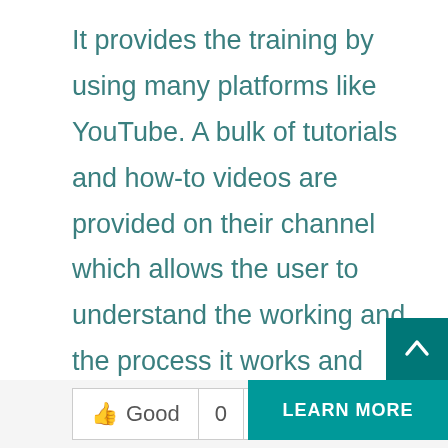It provides the training by using many platforms like YouTube. A bulk of tutorials and how-to videos are provided on their channel which allows the user to understand the working and the process it works and allows him to invest in a highly emerging marketplace. The interface provided here is interactive and keeps the user updated with current trends as well as the near-past history of the market which allows the user to predict an idea about the near-future trends.
Good  0  [thumbs down]  LEARN MORE